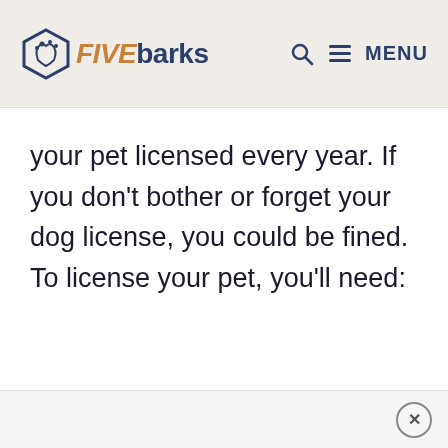FIVEbarks — MENU
your pet licensed every year. If you don't bother or forget your dog license, you could be fined. To license your pet, you'll need: